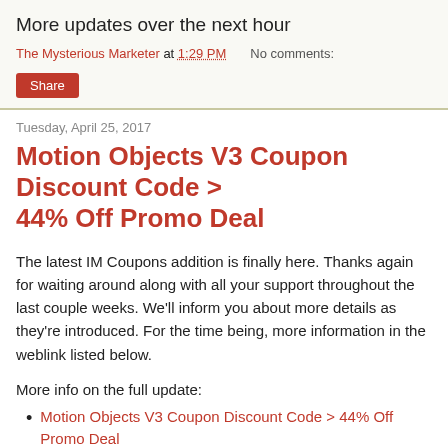More updates over the next hour
The Mysterious Marketer at 1:29 PM    No comments:
Share
Tuesday, April 25, 2017
Motion Objects V3 Coupon Discount Code > 44% Off Promo Deal
The latest IM Coupons addition is finally here. Thanks again for waiting around along with all your support throughout the last couple weeks. We'll inform you about more details as they're introduced. For the time being, more information in the weblink listed below.
More info on the full update:
Motion Objects V3 Coupon Discount Code > 44% Off Promo Deal